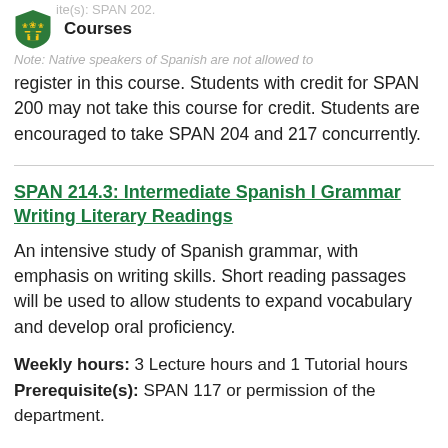Courses
register in this course. Students with credit for SPAN 200 may not take this course for credit. Students are encouraged to take SPAN 204 and 217 concurrently.
SPAN 214.3: Intermediate Spanish I Grammar Writing Literary Readings
An intensive study of Spanish grammar, with emphasis on writing skills. Short reading passages will be used to allow students to expand vocabulary and develop oral proficiency.
Weekly hours: 3 Lecture hours and 1 Tutorial hours
Prerequisite(s): SPAN 117 or permission of the department.